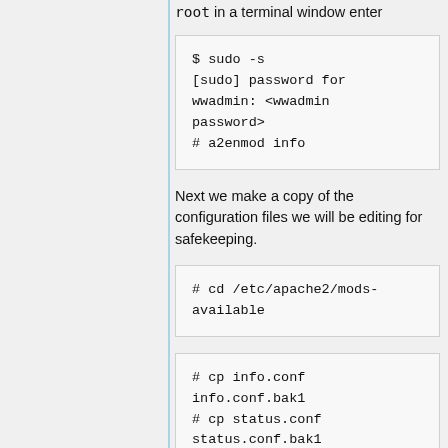root in a terminal window enter
$ sudo -s
[sudo] password for wwadmin: <wwadmin password>
# a2enmod info
Next we make a copy of the configuration files we will be editing for safekeeping.
# cd /etc/apache2/mods-available
# cp info.conf info.conf.bak1
# cp status.conf status.conf.bak1